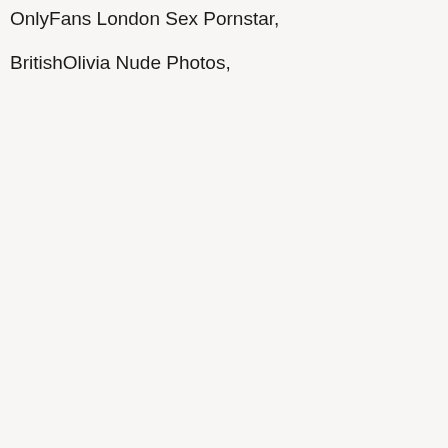OnlyFans London Sex Pornstar,
BritishOlivia Nude Photos,